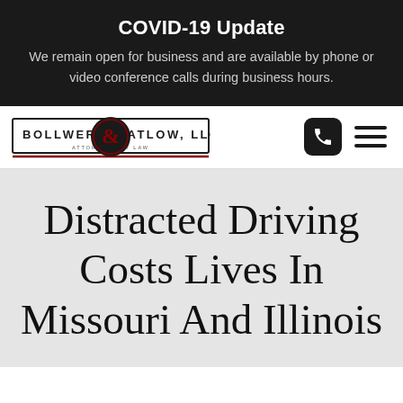COVID-19 Update
We remain open for business and are available by phone or video conference calls during business hours.
[Figure (logo): Bollwerk & Tatlow, LLC Attorneys at Law logo — black rectangular border with firm name and ampersand in a circular emblem]
Distracted Driving Costs Lives In Missouri And Illinois